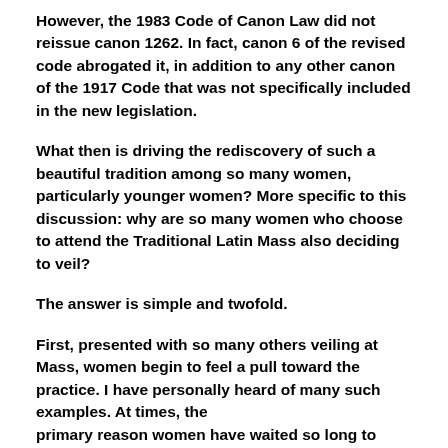However, the 1983 Code of Canon Law did not reissue canon 1262. In fact, canon 6 of the revised code abrogated it, in addition to any other canon of the 1917 Code that was not specifically included in the new legislation.
What then is driving the rediscovery of such a beautiful tradition among so many women, particularly younger women? More specific to this discussion: why are so many women who choose to attend the Traditional Latin Mass also deciding to veil?
The answer is simple and twofold.
First, presented with so many others veiling at Mass, women begin to feel a pull toward the practice. I have personally heard of many such examples. At times, the primary reason women have waited so long to begin...